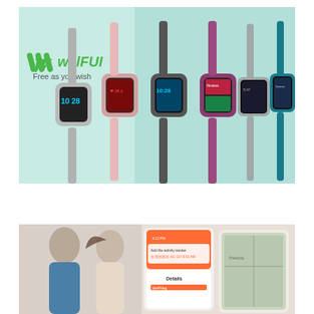[Figure (photo): Willful brand smartwatch promotional image showing five smartwatches in different color bands (gray, pink, dark gray/black, purple/maroon, gray, and teal) displayed on a mint green background. The Willful logo and tagline 'Free as you wish' appear on the left side.]
[Figure (photo): Promotional image showing a man and woman (fitness lifestyle) on the left with smartphone app screenshots on the right showing a fitness tracking app interface with orange and white UI elements and a map view.]